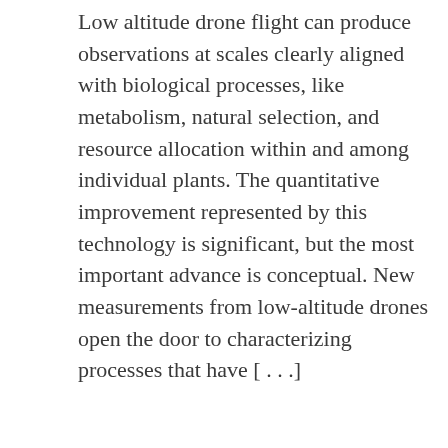Low altitude drone flight can produce observations at scales clearly aligned with biological processes, like metabolism, natural selection, and resource allocation within and among individual plants. The quantitative improvement represented by this technology is significant, but the most important advance is conceptual. New measurements from low-altitude drones open the door to characterizing processes that have [...]
READ MORE →
[Figure (photo): Aerial drone photograph looking down at a dense forest canopy with dark green treetops]